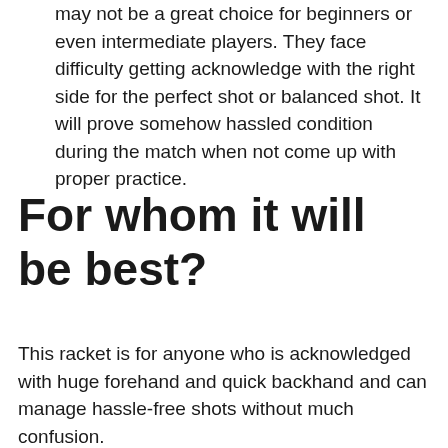may not be a great choice for beginners or even intermediate players. They face difficulty getting acknowledge with the right side for the perfect shot or balanced shot. It will prove somehow hassled condition during the match when not come up with proper practice.
For whom it will be best?
This racket is for anyone who is acknowledged with huge forehand and quick backhand and can manage hassle-free shots without much confusion.